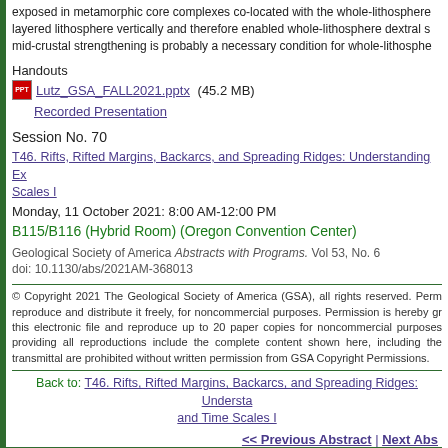exposed in metamorphic core complexes co-located with the whole-lithosphere layered lithosphere vertically and therefore enabled whole-lithosphere dextral s mid-crustal strengthening is probably a necessary condition for whole-lithosph
Handouts
Lutz_GSA_FALL2021.pptx (45.2 MB)
Recorded Presentation
Session No. 70
T46. Rifts, Rifted Margins, Backarcs, and Spreading Ridges: Understanding Ex Scales I
Monday, 11 October 2021: 8:00 AM-12:00 PM
B115/B116 (Hybrid Room) (Oregon Convention Center)
Geological Society of America Abstracts with Programs. Vol 53, No. 6
doi: 10.1130/abs/2021AM-368013
© Copyright 2021 The Geological Society of America (GSA), all rights reserved. Perm reproduce and distribute it freely, for noncommercial purposes. Permission is hereby gr this electronic file and reproduce up to 20 paper copies for noncommercial purposes providing all reproductions include the complete content shown here, including the transmittal are prohibited without written permission from GSA Copyright Permissions.
Back to: T46. Rifts, Rifted Margins, Backarcs, and Spreading Ridges: Understa and Time Scales I
<< Previous Abstract | Next Abs